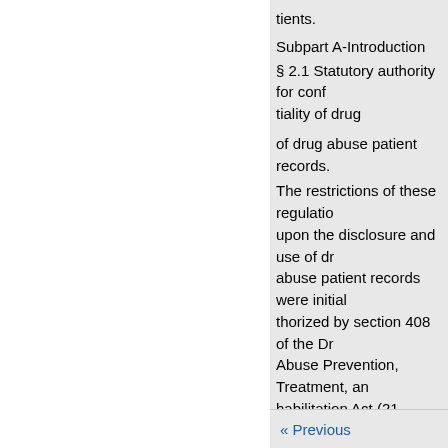tients.
Subpart A-Introduction
§ 2.1 Statutory authority for confidentiality of drug
of drug abuse patient records.
The restrictions of these regulations upon the disclosure and use of drug abuse patient records were initially authorized by section 408 of the Drug Abuse Prevention, Treatment, and Rehabilitation Act (21 U.S.C. 1175). This section as amended was transferred by Pub. L. 98 24 to section 527 of the Public Health Service Act which is c
Subpart D-Disclosures Without Patient Consent
2.51 Medical emergencies.
2.52 Research activities.
2.53 Audit and evaluation activit
« Previous